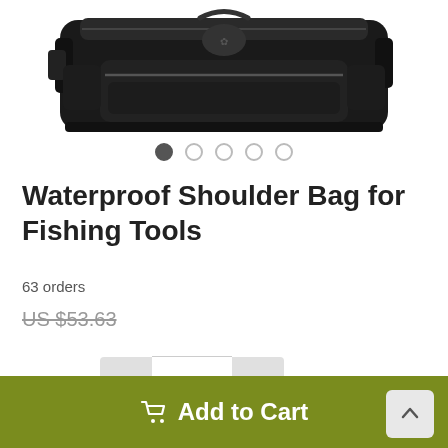[Figure (photo): Black waterproof fishing shoulder bag shown from a top-angle view against white background]
Waterproof Shoulder Bag for Fishing Tools
63 orders
US $53.63
Quantity: 1
Add to Cart